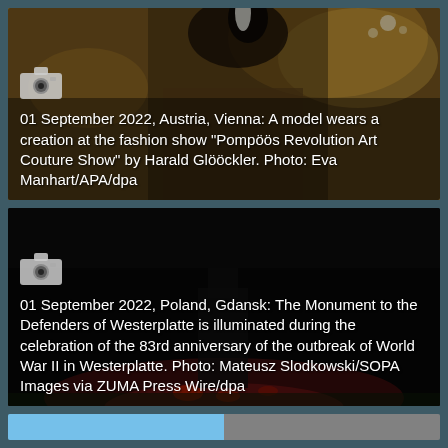[Figure (photo): A model wearing a decorative feathered headpiece at a fashion show, with warm golden interior background]
01 September 2022, Austria, Vienna: A model wears a creation at the fashion show "Pompöös Revolution Art Couture Show" by Harald Glööckler. Photo: Eva Manhart/APA/dpa
[Figure (photo): The Monument to the Defenders of Westerplatte illuminated at night with red lighting elements visible in darkness]
01 September 2022, Poland, Gdansk: The Monument to the Defenders of Westerplatte is illuminated during the celebration of the 83rd anniversary of the outbreak of World War II in Westerplatte. Photo: Mateusz Slodkowski/SOPA Images via ZUMA Press Wire/dpa
[Figure (photo): Partial view of a split image showing blue sky on the left and grey stone or wall on the right, at the bottom of the page]